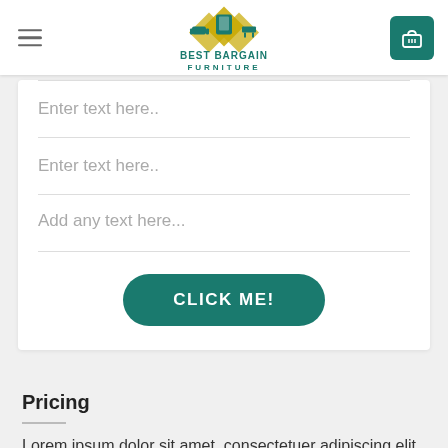BEST BARGAIN FURNITURE
[Figure (logo): Best Bargain Furniture logo with diamond shapes and furniture icons]
Enter text here..
Enter text here..
Add any text here...
CLICK ME!
Pricing
Lorem ipsum dolor sit amet, consectetuer adipiscing elit, sed diam nonummy nibh euismod tincidunt ut laoreet